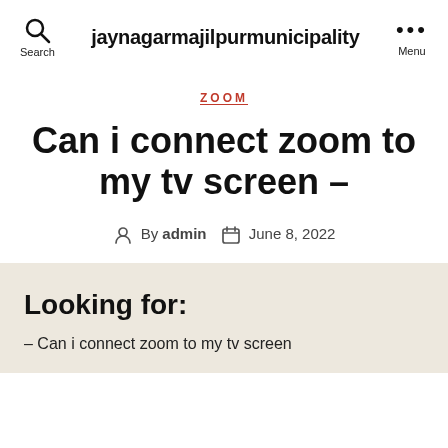jaynagarmajilpurmunicipality
ZOOM
Can i connect zoom to my tv screen –
By admin  June 8, 2022
Looking for:
– Can i connect zoom to my tv screen